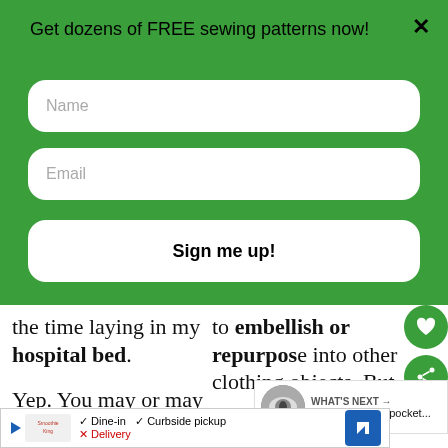Get dozens of FREE sewing patterns now!
Name
Email
Sign me up!
the time laying in my hospital bed.
to embellish or repurpose into other clothing objects. But
Yep. You may or may not have
[Figure (screenshot): WHAT'S NEXT panel showing thumbnail and text: Inserts for cloth pocket...]
[Figure (infographic): Restaurant ad banner: Smoothie King - Dine-in checkmark, Curbside pickup checkmark, Delivery X, with blue navigation icon]